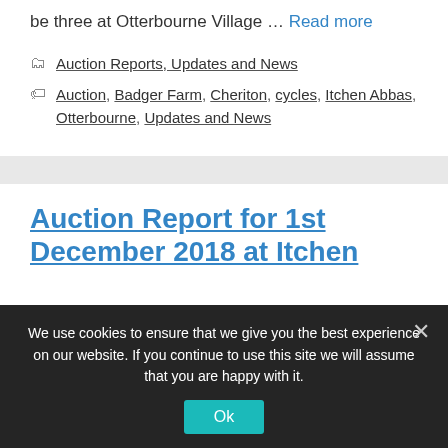be three at Otterbourne Village … Read more
Auction Reports, Updates and News
Auction, Badger Farm, Cheriton, cycles, Itchen Abbas, Otterbourne, Updates and News
Auction Report for 1st December 2018 at Itchen
We use cookies to ensure that we give you the best experience on our website. If you continue to use this site we will assume that you are happy with it.